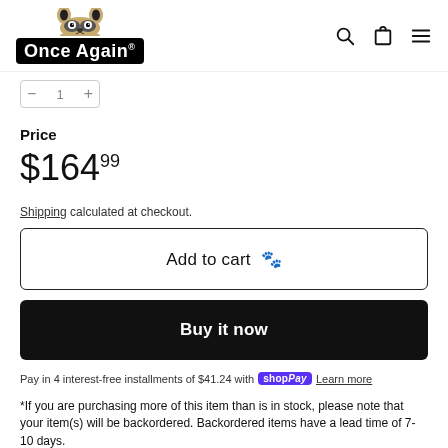[Figure (logo): Once Again brand logo with raccoon mascot, black background, white text]
$164.99
Price
Shipping calculated at checkout.
Add to cart 🐾
Buy it now
Pay in 4 interest-free installments of $41.24 with Shop Pay Learn more
*If you are purchasing more of this item than is in stock, please note that your item(s) will be backordered. Backordered items have a lead time of 7-10 days.